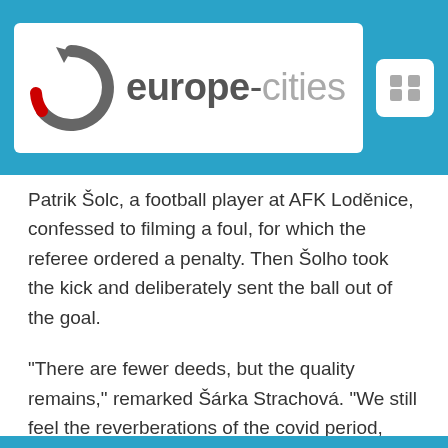[Figure (logo): europe-cities logo with circular arrow icon in grey and red, on white background, inside blue header bar]
Patrik Šolc, a football player at AFK Loděnice, confessed to filming a foul, for which the referee ordered a penalty. Then Šolho took the kick and deliberately sent the ball out of the goal.
“There are fewer deeds, but the quality remains,” remarked Šárka Strachová. “We still feel the reverberations of the covid period, when there was not much competition, and amateur competitions are still starting. I believe that there will be more such acts now. We see them all around us. ”